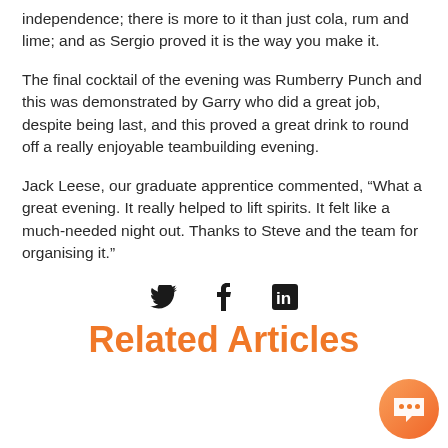independence; there is more to it than just cola, rum and lime; and as Sergio proved it is the way you make it.
The final cocktail of the evening was Rumberry Punch and this was demonstrated by Garry who did a great job, despite being last, and this proved a great drink to round off a really enjoyable teambuilding evening.
Jack Leese, our graduate apprentice commented, “What a great evening. It really helped to lift spirits. It felt like a much -needed night out. Thanks to Steve and the team for organising it.”
[Figure (infographic): Social media sharing icons: Twitter bird, Facebook f, LinkedIn in]
Related Articles